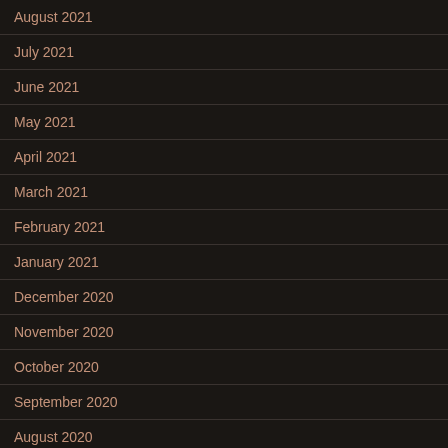August 2021
July 2021
June 2021
May 2021
April 2021
March 2021
February 2021
January 2021
December 2020
November 2020
October 2020
September 2020
August 2020
July 2020
June 2020